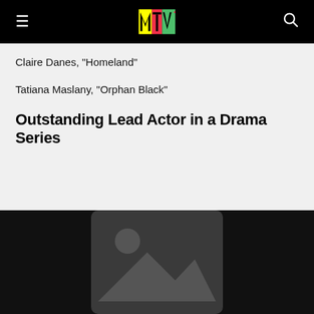MTV
Claire Danes, "Homeland"
Tatiana Maslany, "Orphan Black"
Outstanding Lead Actor in a Drama Series
[Figure (photo): Black background with a dark grey image placeholder icon (mountain and sun) in the center]